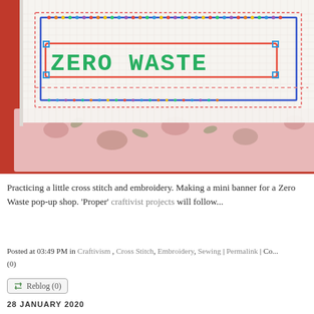[Figure (photo): Close-up photo of a cross-stitch embroidery piece on white aida cloth showing 'ZERO WASTE' text in multicolored letters with a decorative border, resting on a floral fabric and red background.]
Practicing a little cross stitch and embroidery. Making a mini banner for a Zero Waste pop-up shop. 'Proper' craftivist projects will follow...
Posted at 03:49 PM in Craftivism , Cross Stitch, Embroidery, Sewing | Permalink | Co... (0)
Reblog (0)
28 JANUARY 2020